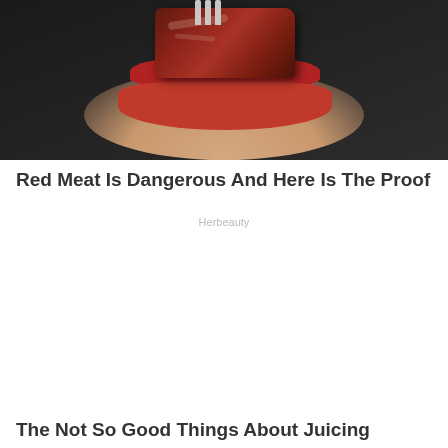[Figure (photo): Close-up photo of a person with red lipstick eating a piece of red meat held by a fork, dark background]
Red Meat Is Dangerous And Here Is The Proof
Herbeauty
The Not So Good Things About Juicing